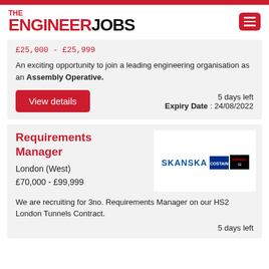THE ENGINEER JOBS
£25,000 - £25,999
An exciting opportunity to join a leading engineering organisation as an Assembly Operative.
View details
5 days left
Expiry Date : 24/08/2022
Requirements Manager
London (West)
£70,000 - £99,999
[Figure (logo): Skanska, Costain, and Strabag company logos displayed side by side]
We are recruiting for 3no. Requirements Manager on our HS2 London Tunnels Contract.
5 days left